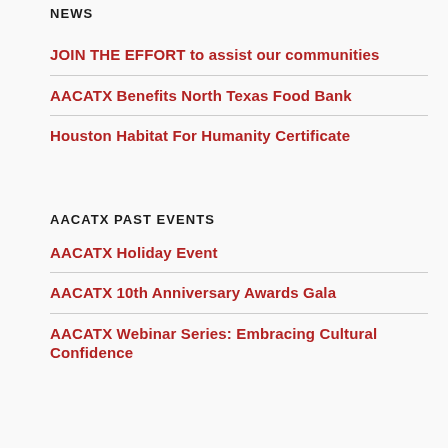NEWS
JOIN THE EFFORT to assist our communities
AACATX Benefits North Texas Food Bank
Houston Habitat For Humanity Certificate
AACATX PAST EVENTS
AACATX Holiday Event
AACATX 10th Anniversary Awards Gala
AACATX Webinar Series: Embracing Cultural Confidence